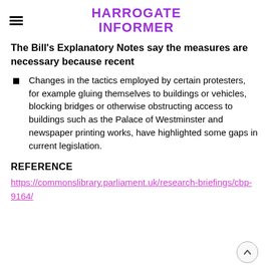HARROGATE INFORMER
The Bill's Explanatory Notes say the measures are necessary because recent
Changes in the tactics employed by certain protesters, for example gluing themselves to buildings or vehicles, blocking bridges or otherwise obstructing access to buildings such as the Palace of Westminster and newspaper printing works, have highlighted some gaps in current legislation.
REFERENCE
https://commonslibrary.parliament.uk/research-briefings/cbp-9164/